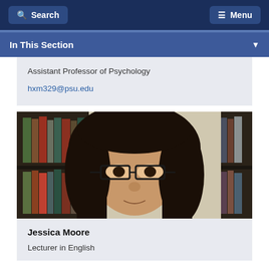Search  Menu
In This Section
Assistant Professor of Psychology
hxm329@psu.edu
[Figure (photo): Headshot photo of a woman with long dark hair and glasses, in front of a bookshelf]
Jessica Moore
Lecturer in English